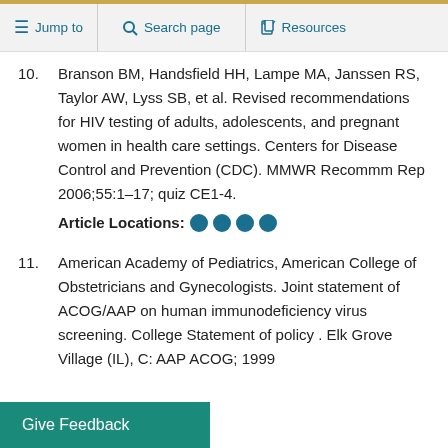Jump to | Search page | Resources
10. Branson BM, Handsfield HH, Lampe MA, Janssen RS, Taylor AW, Lyss SB, et al. Revised recommendations for HIV testing of adults, adolescents, and pregnant women in health care settings. Centers for Disease Control and Prevention (CDC). MMWR Recomm Rep 2006;55:1–17; quiz CE1-4. Article Locations: ● ● ● ●
11. American Academy of Pediatrics, American College of Obstetricians and Gynecologists. Joint statement of ACOG/AAP on human immunodeficiency virus screening. College Statement of policy . Elk Grove Village (IL), C: AAP ACOG; 1999